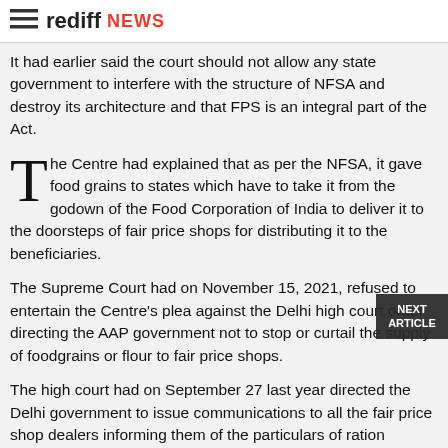rediff NEWS
It had earlier said the court should not allow any state government to interfere with the structure of NFSA and destroy its architecture and that FPS is an integral part of the Act.
The Centre had explained that as per the NFSA, it gave food grains to states which have to take it from the godown of the Food Corporation of India to deliver it to the doorsteps of fair price shops for distributing it to the beneficiaries.
The Supreme Court had on November 15, 2021, refused to entertain the Centre's plea against the Delhi high court order directing the AAP government not to stop or curtail the supply of foodgrains or flour to fair price shops.
The high court had on September 27 last year directed the Delhi government to issue communications to all the fair price shop dealers informing them of the particulars of ration cardholders who have opted to receive their rations at doorsteps.